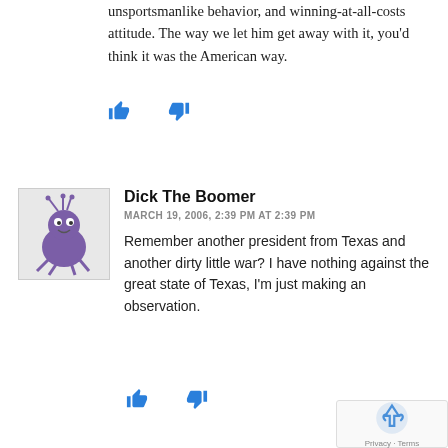unsportsmanlike behavior, and winning-at-all-costs attitude. The way we let him get away with it, you'd think it was the American way.
[Figure (other): Thumbs up and thumbs down voting icons (blue)]
[Figure (illustration): Cartoon avatar of a purple bug-like creature]
Dick The Boomer
MARCH 19, 2006, 2:39 PM AT 2:39 PM
Remember another president from Texas and another dirty little war? I have nothing against the great state of Texas, I'm just making an observation.
[Figure (other): Thumbs up and thumbs down voting icons (blue)]
[Figure (logo): reCAPTCHA badge with Privacy and Terms links]